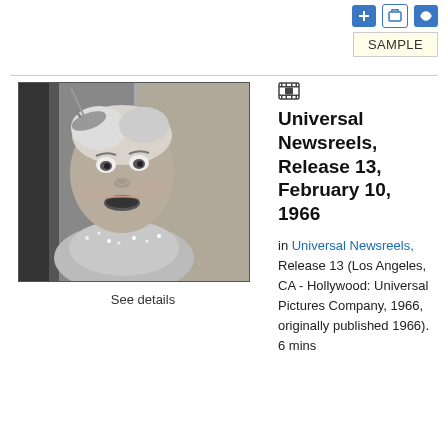[Figure (photo): Black and white still photo of a woman with short light hair and a feathered headband, mouth open in an expressive pose, wearing a sparkly outfit]
See details
Universal Newsreels, Release 13, February 10, 1966
in Universal Newsreels, Release 13 (Los Angeles, CA - Hollywood: Universal Pictures Company, 1966, originally published 1966). 6 mins